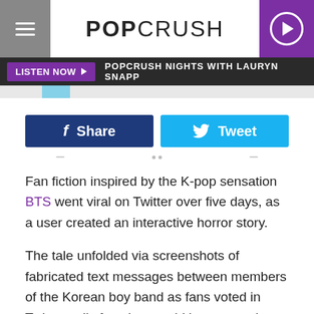POPCRUSH
LISTEN NOW ▶  POPCRUSH NIGHTS WITH LAURYN SNAPP
[Figure (other): Facebook Share button and Twitter Tweet button side by side]
Fan fiction inspired by the K-pop sensation BTS went viral on Twitter over five days, as a user created an interactive horror story.
The tale unfolded via screenshots of fabricated text messages between members of the Korean boy band as fans voted in Twitter polls for what would happen to the characters next.